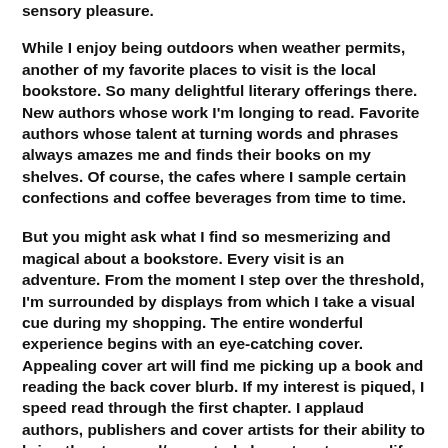sensory pleasure.
While I enjoy being outdoors when weather permits, another of my favorite places to visit is the local bookstore. So many delightful literary offerings there. New authors whose work I'm longing to read. Favorite authors whose talent at turning words and phrases always amazes me and finds their books on my shelves. Of course, the cafes where I sample certain confections and coffee beverages from time to time.
But you might ask what I find so mesmerizing and magical about a bookstore. Every visit is an adventure. From the moment I step over the threshold, I'm surrounded by displays from which I take a visual cue during my shopping. The entire wonderful experience begins with an eye-catching cover. Appealing cover art will find me picking up a book and reading the back cover blurb. If my interest is piqued, I speed read through the first chapter. I applaud authors, publishers and cover artists for their ability to bring the story and/or central characters to cover life. Because of sweeping covers, I've purchased many new authors!